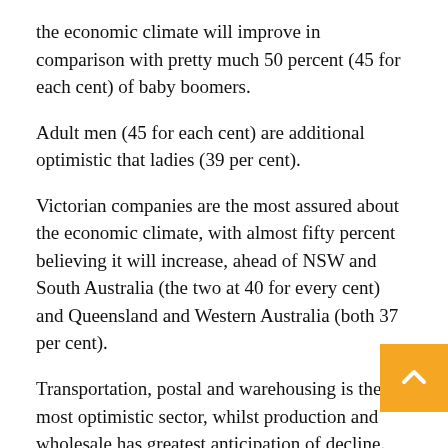the economic climate will improve in comparison with pretty much 50 percent (45 for each cent) of baby boomers.
Adult men (45 for each cent) are additional optimistic that ladies (39 per cent).
Victorian companies are the most assured about the economic climate, with almost fifty percent believing it will increase, ahead of NSW and South Australia (the two at 40 for every cent) and Queensland and Western Australia (both 37 per cent).
Transportation, postal and warehousing is the most optimistic sector, whilst production and wholesale has greatest anticipation of decline.
Those whose companies were produced all through